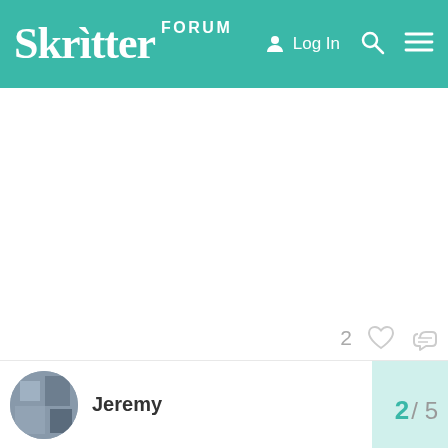Skritter FORUM — Log In
2 likes, link icon
Jeremy  2 / 5